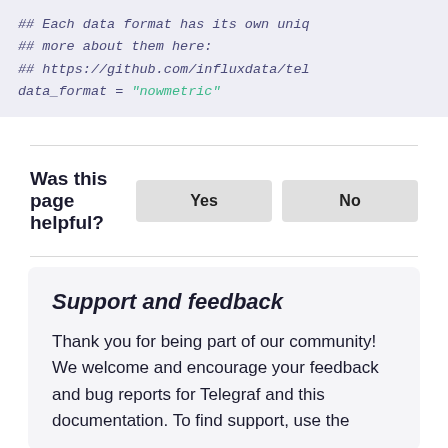## Each data format has its own uniq
## more about them here:
## https://github.com/influxdata/tel
data_format = "nowmetric"
Was this page helpful?
Support and feedback
Thank you for being part of our community! We welcome and encourage your feedback and bug reports for Telegraf and this documentation. To find support, use the